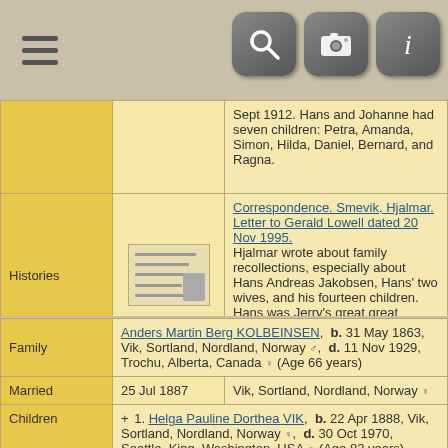[Figure (screenshot): Top navigation bar with hamburger menu and three toolbar buttons (search, camera, info)]
| Histories | [thumbnail image] | Correspondence. Smevik, Hjalmar. Letter to Gerald Lowell dated 20 Nov 1995.
Hjalmar wrote about family recollections, especially about Hans Andreas Jakobsen, Hans' two wives, and his fourteen children. Hans was Jerry's great great grandfather and Hjalmar's grandfather. |
| Family ID | F378 | Group Sheet  |  Family Chart |
| Family |  | Anders Martin Berg KOLBEINSEN,  b. 31 May 1863, Vik, Sortland, Nordland, Norway,  d. 11 Nov 1929, Trochu, Alberta, Canada  (Age 66 years) |
| Married |  | 25 Jul 1887  |  Vik, Sortland, Nordland, Norway |
| Children |  | + 1. Helga Pauline Dorthea VIK,  b. 22 Apr 1888, Vik, Sortland, Nordland, Norway,  d. 30 Oct 1970, Seattle, King, Washington, USA  (Age 82 years)
2. Kalmar Eklund VIK,  b. 28 May 1889, Vik, |